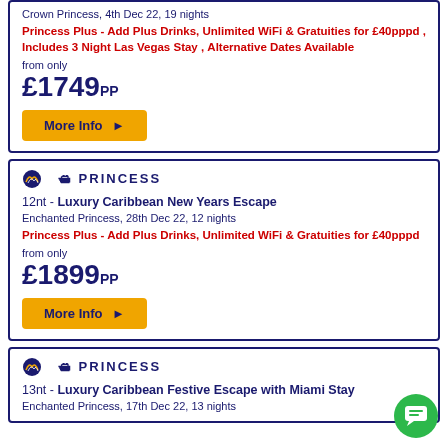Crown Princess, 4th Dec 22, 19 nights
Princess Plus - Add Plus Drinks, Unlimited WiFi & Gratuities for £40pppd , Includes 3 Night Las Vegas Stay , Alternative Dates Available
from only
£1749PP
More Info ▶
[Figure (logo): Princess Cruises logo]
12nt - Luxury Caribbean New Years Escape
Enchanted Princess, 28th Dec 22, 12 nights
Princess Plus - Add Plus Drinks, Unlimited WiFi & Gratuities for £40pppd
from only
£1899PP
More Info ▶
[Figure (logo): Princess Cruises logo]
13nt - Luxury Caribbean Festive Escape with Miami Stay
Enchanted Princess, 17th Dec 22, 13 nights